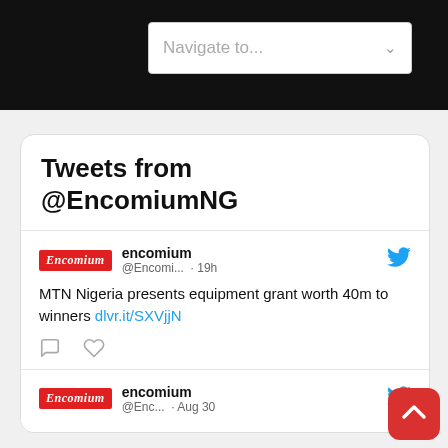Navigate to...
Tweets from @EncomiumNG
encomium @Encomi... · 19h
MTN Nigeria presents equipment grant worth 40m to winners dlvr.it/SXVjjN
encomium @Enc... · Aug 30